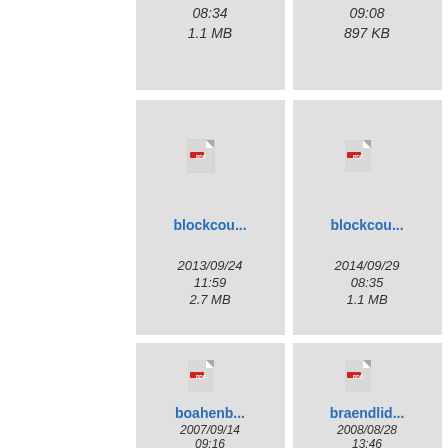[Figure (screenshot): File browser grid view showing PDF file thumbnails with filenames and metadata. Top partial row shows two files with times 08:34 / 1.1 MB and 09:08 / 897 KB. Middle row shows blockcou... (2013/09/24 11:59, 2.7 MB) and blockcou... (2014/09/29 08:35, 1.1 MB) and a partial third. Bottom row shows boahenb... (2007/09/14 09:16) and braendlid... (2008/08/28 13:46) and a partial third starting with 'ca'.]